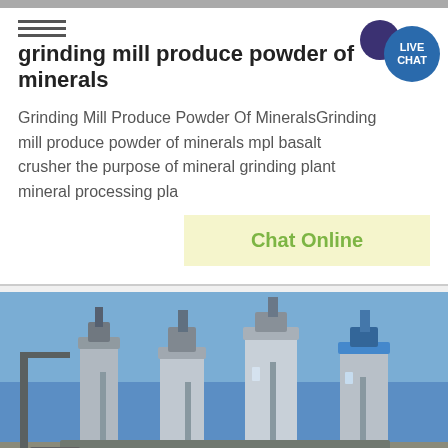grinding mill produce powder of minerals
Grinding Mill Produce Powder Of MineralsGrinding mill produce powder of minerals mpl basalt crusher the purpose of mineral grinding plant mineral processing pla
[Figure (screenshot): Live Chat badge with teal circle and dark purple speech bubble]
[Figure (photo): Industrial grinding mill/factory with silver silos and blue sky background]
Get a Quote
WhatsApp